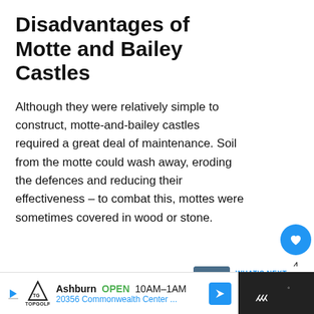Disadvantages of Motte and Bailey Castles
Although they were relatively simple to construct, motte-and-bailey castles required a great deal of maintenance. Soil from the motte could wash away, eroding the defences and reducing their effectiveness – to combat this, mottes were sometimes covered in wood or stone.
[Figure (other): Social media UI: heart/like button (blue circle), like count '4', and share button]
[Figure (other): What's Next promo: image of a castle with text 'WHAT'S NEXT → Castle Design Through the...']
[Figure (other): Advertisement bar: Topgolf logo, 'Ashburn OPEN 10AM-1AM 20356 Commonwealth Center...' with navigation icon; dark right panel with logo]